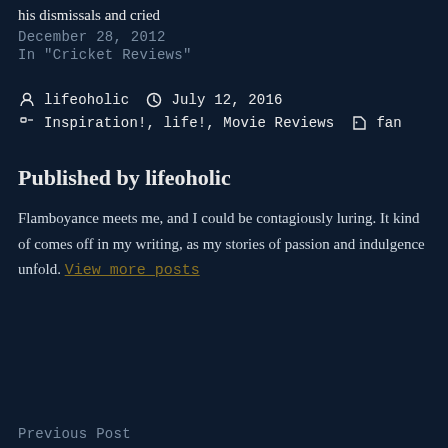his dismissals and cried
December 28, 2012
In "Cricket Reviews"
lifeoholic   July 12, 2016
Inspiration!, life!, Movie Reviews   fan
Published by lifeoholic
Flamboyance meets me, and I could be contagiously luring. It kind of comes off in my writing, as my stories of passion and indulgence unfold. View more posts
Previous Post